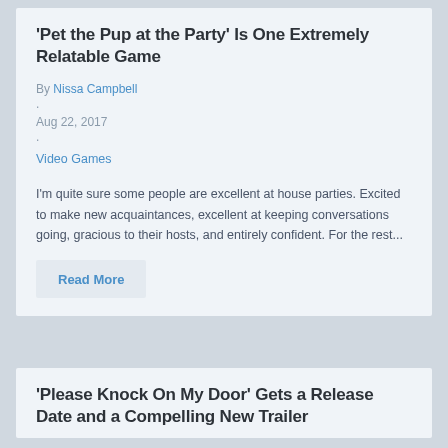'Pet the Pup at the Party' Is One Extremely Relatable Game
By Nissa Campbell
Aug 22, 2017
Video Games
I'm quite sure some people are excellent at house parties. Excited to make new acquaintances, excellent at keeping conversations going, gracious to their hosts, and entirely confident. For the rest...
Read More
'Please Knock On My Door' Gets a Release Date and a Compelling New Trailer